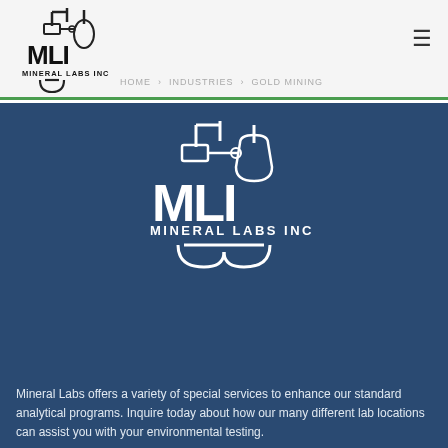MLI Mineral Labs Inc | HOME > INDUSTRIES > GOLD MINING
[Figure (logo): MLI Mineral Labs Inc logo — white line-art of lab equipment (flask, beaker, connectors) above bold letters MLI and text MINERAL LABS INC, shown in dark on light background in header]
[Figure (logo): MLI Mineral Labs Inc logo — white line-art of lab equipment above bold letters MLI and text MINERAL LABS INC, shown in white on dark blue background in main section]
Mineral Labs offers a variety of special services to enhance our standard analytical programs. Inquire today about how our many different lab locations can assist you with your environmental testing.
Phone: